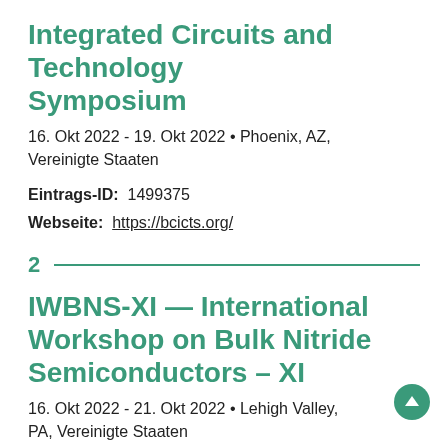Integrated Circuits and Technology Symposium
16. Okt 2022 - 19. Okt 2022 • Phoenix, AZ, Vereinigte Staaten
Eintrags-ID:  1499375
Webseite:  https://bcicts.org/
2
IWBNS-XI — International Workshop on Bulk Nitride Semiconductors – XI
16. Okt 2022 - 21. Okt 2022 • Lehigh Valley, PA, Vereinigte Staaten